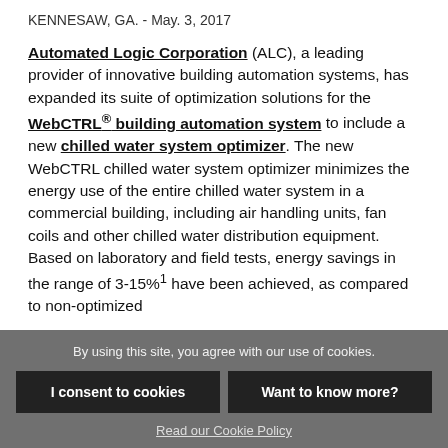KENNESAW, GA. - May. 3, 2017
Automated Logic Corporation (ALC), a leading provider of innovative building automation systems, has expanded its suite of optimization solutions for the WebCTRL® building automation system to include a new chilled water system optimizer. The new WebCTRL chilled water system optimizer minimizes the energy use of the entire chilled water system in a commercial building, including air handling units, fan coils and other chilled water distribution equipment. Based on laboratory and field tests, energy savings in the range of 3-15%1 have been achieved, as compared to non-optimized
By using this site, you agree with our use of cookies.
I consent to cookies
Want to know more?
Read our Cookie Policy